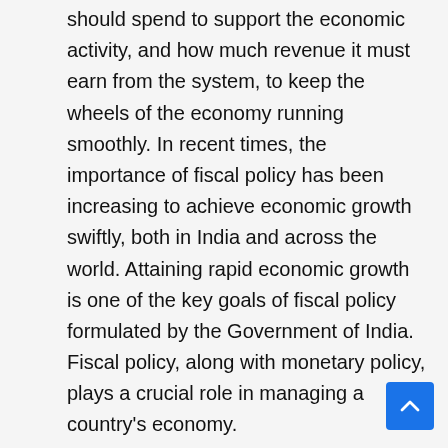should spend to support the economic activity, and how much revenue it must earn from the system, to keep the wheels of the economy running smoothly. In recent times, the importance of fiscal policy has been increasing to achieve economic growth swiftly, both in India and across the world. Attaining rapid economic growth is one of the key goals of fiscal policy formulated by the Government of India. Fiscal policy, along with monetary policy, plays a crucial role in managing a country's economy.